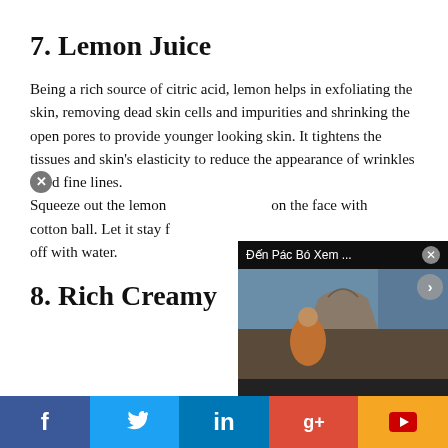7. Lemon Juice
Being a rich source of citric acid, lemon helps in exfoliating the skin, removing dead skin cells and impurities and shrinking the open pores to provide younger looking skin. It tightens the tissues and skin’s elasticity to reduce the appearance of wrinkles and fine lines.
Squeeze out the lemon juice and apply it on the face with a cotton ball. Let it stay for some time and then rinse it off with water.
8. Rich Creamy
[Figure (screenshot): Video overlay showing a scene with a person in orange robe near a traditional Asian building rooftop. Title bar reads 'Đến Pác Bó Xem ...' with a play button.]
f  [Twitter bird]  in  [Google+]  [YouTube]